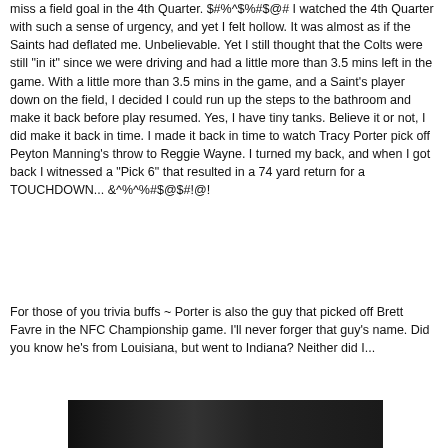miss a field goal in the 4th Quarter. $#%^$%#$@# I watched the 4th Quarter with such a sense of urgency, and yet I felt hollow. It was almost as if the Saints had deflated me. Unbelievable. Yet I still thought that the Colts were still "in it" since we were driving and had a little more than 3.5 mins left in the game. With a little more than 3.5 mins in the game, and a Saint's player down on the field, I decided I could run up the steps to the bathroom and make it back before play resumed. Yes, I have tiny tanks. Believe it or not, I did make it back in time. I made it back in time to watch Tracy Porter pick off Peyton Manning's throw to Reggie Wayne. I turned my back, and when I got back I witnessed a "Pick 6" that resulted in a 74 yard return for a TOUCHDOWN... &^%^%#$@$#!@!
For those of you trivia buffs ~ Porter is also the guy that picked off Brett Favre in the NFC Championship game. I'll never forger that guy's name. Did you know he's from Louisiana, but went to Indiana? Neither did I...
[Figure (photo): Dark/black screenshot image, partially visible at bottom of page]